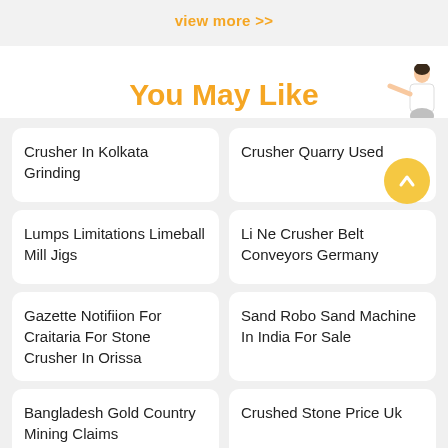view more >>
You May Like
Crusher In Kolkata Grinding
Crusher Quarry Used
Lumps Limitations Limeball Mill Jigs
Li Ne Crusher Belt Conveyors Germany
Gazette Notifiion For Craitaria For Stone Crusher In Orissa
Sand Robo Sand Machine In India For Sale
Bangladesh Gold Country Mining Claims
Crushed Stone Price Uk